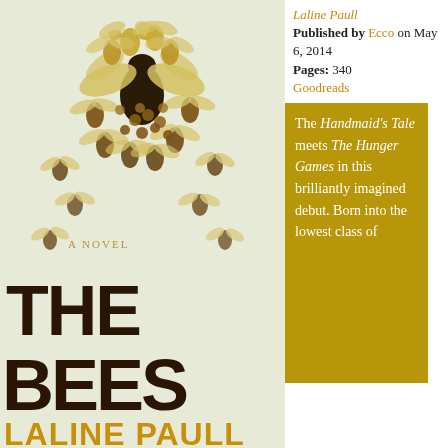[Figure (illustration): Book cover of 'The Bees' by Laline Paull showing a swarm of bees on a light background with large bold text 'THE BEES' and author name 'LALINE PAULL' in golden/yellow at the bottom. Subtitle 'A NOVEL' appears mid-cover.]
Laline Paull
Published by Ecco on May 6, 2014
Pages: 340
Goodreads
The Handmaid's Tale meets The Hunger Games in this brilliantly imagined debut. Born into the lowest class of